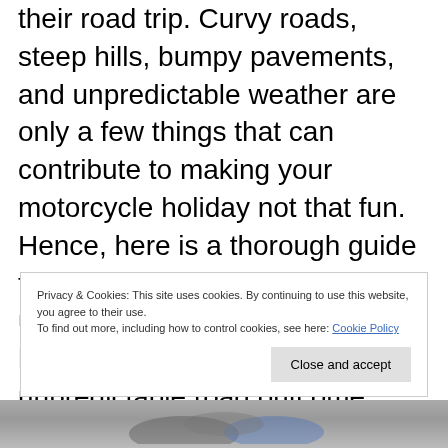their road trip. Curvy roads, steep hills, bumpy pavements, and unpredictable weather are only a few things that can contribute to making your motorcycle holiday not that fun. Hence, here is a thorough guide that will help you prepare for unforgettable motorcycle holidays and prepare you for any unpredictable road outcome.
Privacy & Cookies: This site uses cookies. By continuing to use this website, you agree to their use.
To find out more, including how to control cookies, see here: Cookie Policy
[Figure (photo): Partial view of motorcycles, bottom strip of page]